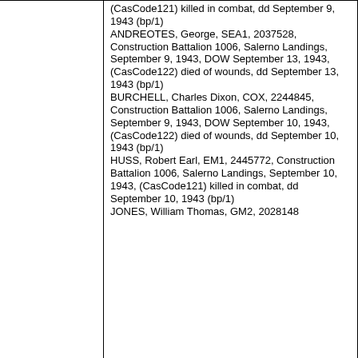(CasCode121) killed in combat, dd September 9, 1943 (bp/1)
ANDREOTES, George, SEA1, 2037528, Construction Battalion 1006, Salerno Landings, September 9, 1943, DOW September 13, 1943, (CasCode122) died of wounds, dd September 13, 1943 (bp/1)
BURCHELL, Charles Dixon, COX, 2244845, Construction Battalion 1006, Salerno Landings, September 9, 1943, DOW September 10, 1943, (CasCode122) died of wounds, dd September 10, 1943 (bp/1)
HUSS, Robert Earl, EM1, 2445772, Construction Battalion 1006, Salerno Landings, September 10, 1943, (CasCode121) killed in combat, dd September 10, 1943 (bp/1)
JONES, William Thomas, GM2, 2028148